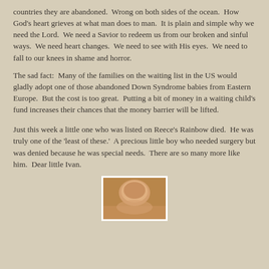countries they are abandoned.  Wrong on both sides of the ocean.  How God's heart grieves at what man does to man.  It is plain and simple why we need the Lord.  We need a Savior to redeem us from our broken and sinful ways.  We need heart changes.  We need to see with His eyes.  We need to fall to our knees in shame and horror.
The sad fact:  Many of the families on the waiting list in the US would gladly adopt one of those abandoned Down Syndrome babies from Eastern Europe.  But the cost is too great.  Putting a bit of money in a waiting child's fund increases their chances that the money barrier will be lifted.
Just this week a little one who was listed on Reece's Rainbow died.  He was truly one of the 'least of these.'  A precious little boy who needed surgery but was denied because he was special needs.  There are so many more like him.  Dear little Ivan.
[Figure (photo): A partial photo of a young child, visible from approximately the forehead down, with warm skin tones and a blurred/cropped appearance at the bottom of the page.]